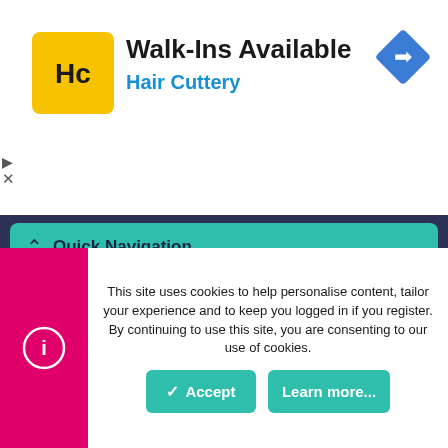[Figure (infographic): Hair Cuttery advertisement banner with logo, 'Walk-Ins Available' heading, 'Hair Cuttery' subtitle in blue, and a blue navigation arrow icon on the right]
Quick Navigation
Home
Forums
Contact Us
User Menu
Login
This site uses cookies to help personalise content, tailor your experience and to keep you logged in if you register.
By continuing to use this site, you are consenting to our use of cookies.